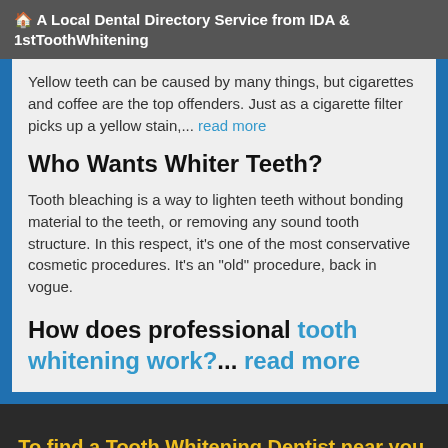🏠 A Local Dental Directory Service from IDA & 1stToothWhitening
Yellow teeth can be caused by many things, but cigarettes and coffee are the top offenders. Just as a cigarette filter picks up a yellow stain,... read more
Who Wants Whiter Teeth?
Tooth bleaching is a way to lighten teeth without bonding material to the teeth, or removing any sound tooth structure. In this respect, it's one of the most conservative cosmetic procedures. It's an "old" procedure, back in vogue.
How does professional tooth whitening work?... read more
To find a Tooth Whitening Dentist near you, enter your postal code below.